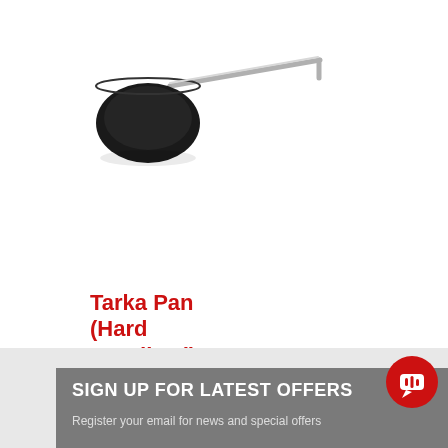[Figure (photo): A black hard anodized tarka pan with a stainless steel long handle, photographed on white background]
Tarka Pan (Hard Anodized)
MRP Rs. 370.00
incl., of all taxes
SIGN UP FOR LATEST OFFERS
Register your email for news and special offers